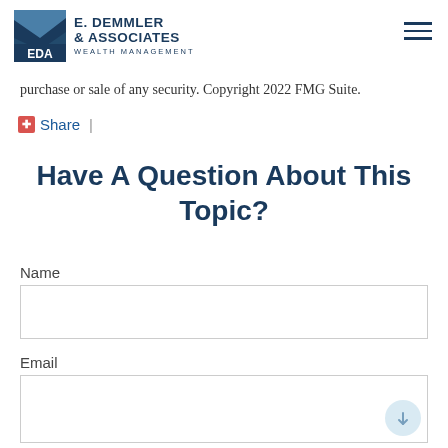E. Demmler & Associates Wealth Management
purchase or sale of any security. Copyright 2022 FMG Suite.
Share |
Have A Question About This Topic?
Name
Email